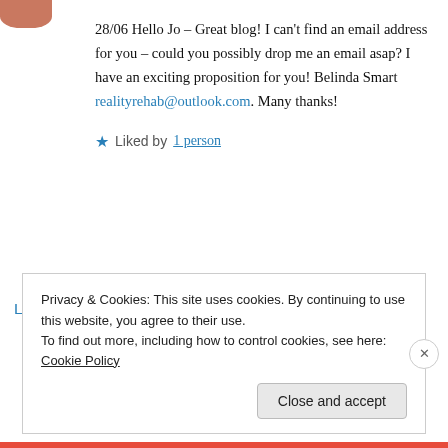28/06 Hello Jo – Great blog! I can't find an email address for you – could you possibly drop me an email asap? I have an exciting proposition for you! Belinda Smart realityrehab@outlook.com. Many thanks!
★ Liked by 1 person
Log in to Reply
Privacy & Cookies: This site uses cookies. By continuing to use this website, you agree to their use. To find out more, including how to control cookies, see here: Cookie Policy
Close and accept